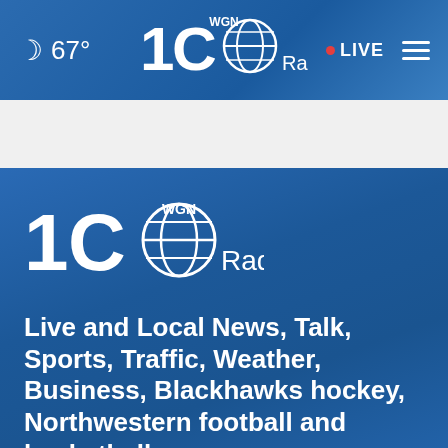🌙 67° | WGN Radio 100 | • LIVE ☰
[Figure (logo): WGN Radio 100th anniversary logo in white, shown in main blue section]
Live and Local News, Talk, Sports, Traffic, Weather, Business, Blackhawks hockey, Northwestern football and basketball
Follow Us